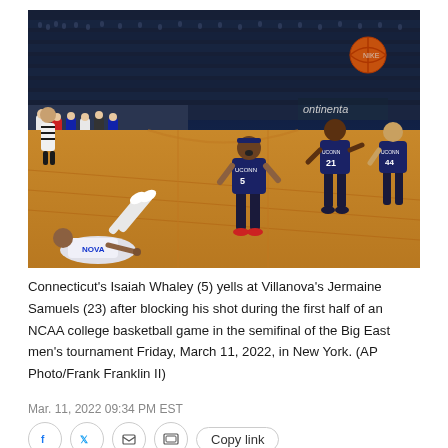[Figure (photo): Basketball game photo: A Villanova player (23) lies on the court floor after having his shot blocked by Connecticut's Isaiah Whaley (5), who yells at him. Other UConn players including #21 are visible on the court. An orange basketball is visible in the upper right. A packed arena crowd is in the background.]
Connecticut's Isaiah Whaley (5) yells at Villanova's Jermaine Samuels (23) after blocking his shot during the first half of an NCAA college basketball game in the semifinal of the Big East men's tournament Friday, March 11, 2022, in New York. (AP Photo/Frank Franklin II)
Mar. 11, 2022 09:34 PM EST